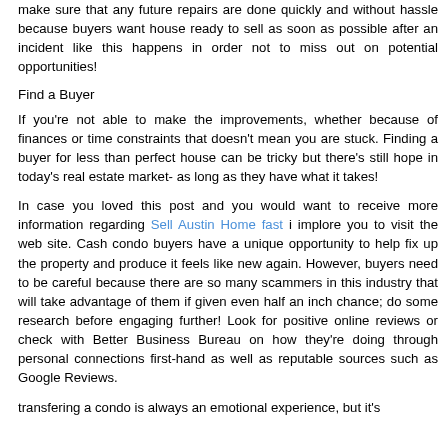make sure that any future repairs are done quickly and without hassle because buyers want house ready to sell as soon as possible after an incident like this happens in order not to miss out on potential opportunities!
Find a Buyer
If you're not able to make the improvements, whether because of finances or time constraints that doesn't mean you are stuck. Finding a buyer for less than perfect house can be tricky but there's still hope in today's real estate market- as long as they have what it takes!
In case you loved this post and you would want to receive more information regarding Sell Austin Home fast i implore you to visit the web site. Cash condo buyers have a unique opportunity to help fix up the property and produce it feels like new again. However, buyers need to be careful because there are so many scammers in this industry that will take advantage of them if given even half an inch chance; do some research before engaging further! Look for positive online reviews or check with Better Business Bureau on how they're doing through personal connections first-hand as well as reputable sources such as Google Reviews.
transfering a condo is always an emotional experience, but it's